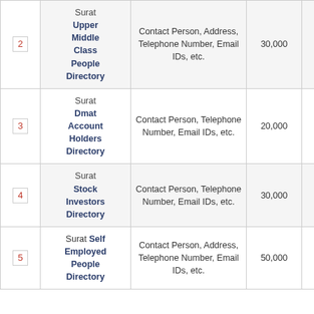| # | Name | Data Fields | Count | Price |
| --- | --- | --- | --- | --- |
| 2 | Surat Upper Middle Class People Directory | Contact Person, Address, Telephone Number, Email IDs, etc. | 30,000 | Rs.3,500 only |
| 3 | Surat Dmat Account Holders Directory | Contact Person, Telephone Number, Email IDs, etc. | 20,000 | Rs.2,000 only |
| 4 | Surat Stock Investors Directory | Contact Person, Telephone Number, Email IDs, etc. | 30,000 | Rs.3,000 only |
| 5 | Surat Self Employed People Directory | Contact Person, Address, Telephone Number, Email IDs, etc. | 50,000 | Rs.5,000 only |